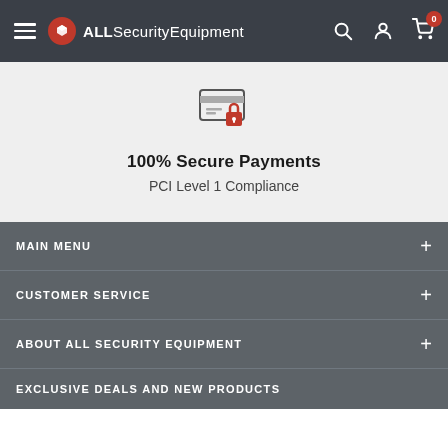ALLSecurityEquipment - navigation header with hamburger menu, logo, search, account, and cart (0 items)
[Figure (illustration): Secure payment icon: credit card with a red padlock overlay]
100% Secure Payments
PCI Level 1 Compliance
MAIN MENU
CUSTOMER SERVICE
ABOUT ALL SECURITY EQUIPMENT
EXCLUSIVE DEALS AND NEW PRODUCTS